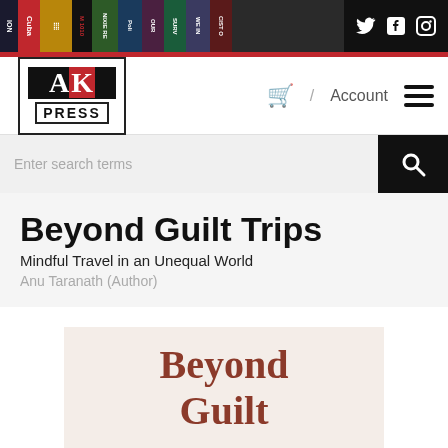[Figure (screenshot): AK Press website header with book spines banner, social media icons (Twitter, Facebook, Instagram), AK Press logo, cart/Account nav, hamburger menu, search bar, book title section, and partial book cover image.]
Beyond Guilt Trips
Mindful Travel in an Unequal World
Anu Taranath (Author)
[Figure (illustration): Partial book cover showing 'Beyond Guilt' text in dark red serif on cream/off-white background]